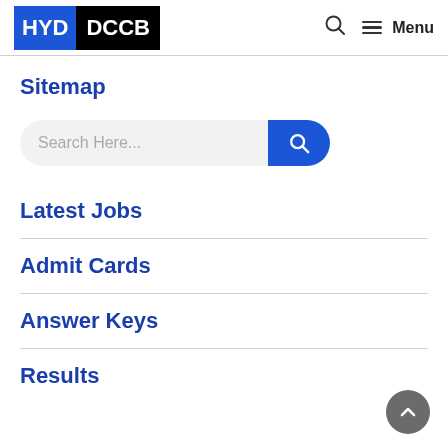HYD DCCB — Menu
Sitemap
[Figure (other): Search bar with placeholder text 'Search Here...' and a blue search button]
Latest Jobs
Admit Cards
Answer Keys
Results